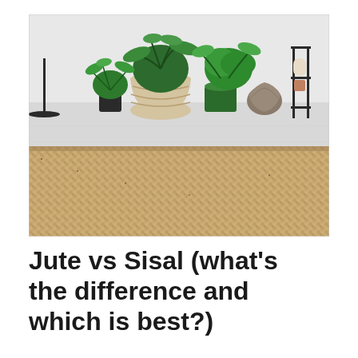[Figure (photo): A close-up photo of a woven natural fiber rug (jute or sisal) in the foreground with a light grey wooden floor behind it. Several green potted plants in various pots are arranged on the floor in the background, along with a black metal shelving unit on the right.]
Jute vs Sisal (what's the difference and which is best?)